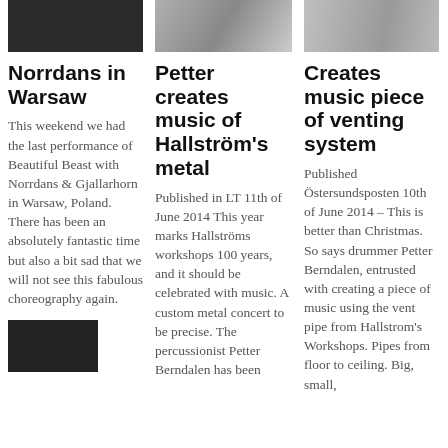[Figure (photo): Black and white photo, dark scene possibly performance]
[Figure (photo): Photo of metal pipes or tubes, industrial]
[Figure (photo): Photo of metal or industrial material, grey tones]
Norrdans in Warsaw
This weekend we had the last performance of Beautiful Beast with Norrdans & Gjallarhorn in Warsaw, Poland. There has been an absolutely fantastic time but also a bit sad that we will not see this fabulous choreography again.
[Figure (photo): Small dark photo at the bottom of column 1]
Petter creates music of Hallström's metal
Published in LT 11th of June 2014 This year marks Hallströms workshops 100 years, and it should be celebrated with music. A custom metal concert to be precise. The percussionist Petter Berndalen has been
Creates music piece of venting system
Published Östersundsposten 10th of June 2014 – This is better than Christmas. So says drummer Petter Berndalen, entrusted with creating a piece of music using the vent pipe from Hallstrom's Workshops. Pipes from floor to ceiling. Big, small,